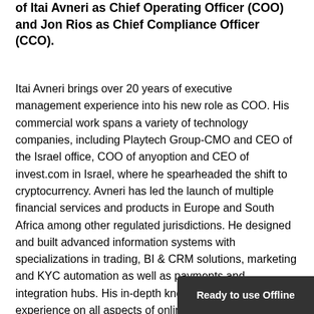of Itai Avneri as Chief Operating Officer (COO) and Jon Rios as Chief Compliance Officer (CCO).
Itai Avneri brings over 20 years of executive management experience into his new role as COO. His commercial work spans a variety of technology companies, including Playtech Group-CMO and CEO of the Israel office, COO of anyoption and CEO of invest.com in Israel, where he spearheaded the shift to cryptocurrency. Avneri has led the launch of multiple financial services and products in Europe and South Africa among other regulated jurisdictions. He designed and built advanced information systems with specializations in trading, BI & CRM solutions, marketing and KYC automation as well as payments and integration hubs. His in-depth knowledge and hands-on experience on all aspects of online business (B2B & B2C), marketing, tec will play a key role at INX Limited.